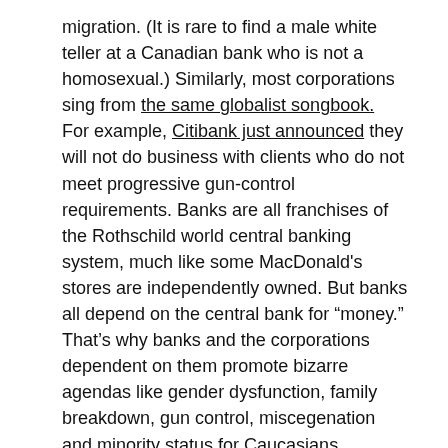migration. (It is rare to find a male white teller at a Canadian bank who is not a homosexual.) Similarly, most corporations sing from the same globalist songbook.   For example, Citibank just announced they will not do business with clients who do not meet progressive gun-control requirements. Banks are all franchises of the Rothschild world central banking system, much like some MacDonald's stores are independently owned. But banks all depend on the central bank for “money.” That’s why banks and the corporations dependent on them promote bizarre agendas like gender dysfunction, family breakdown, gun control, miscegenation and minority status for Caucasians.
WHAT DOES ‘MONEY? LOOK LIKE? (When it’s not currency)
What follows is my best guess but I could be wrong. I welcome correction from better-informed people.